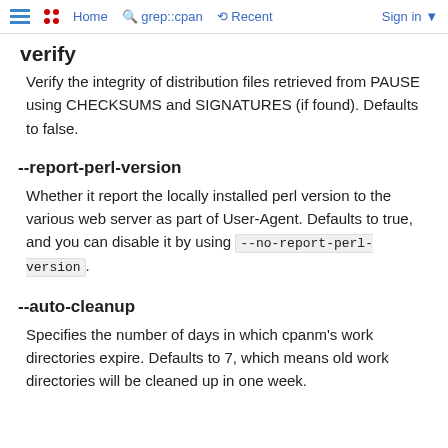Home  grep::cpan  Recent  Sign in
verify
Verify the integrity of distribution files retrieved from PAUSE using CHECKSUMS and SIGNATURES (if found). Defaults to false.
--report-perl-version
Whether it report the locally installed perl version to the various web server as part of User-Agent. Defaults to true, and you can disable it by using --no-report-perl-version.
--auto-cleanup
Specifies the number of days in which cpanm's work directories expire. Defaults to 7, which means old work directories will be cleaned up in one week.